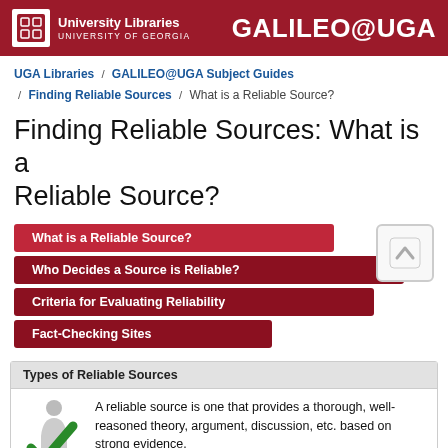University Libraries / University of Georgia | GALILEO@UGA
UGA Libraries / GALILEO@UGA Subject Guides / Finding Reliable Sources / What is a Reliable Source?
Finding Reliable Sources: What is a Reliable Source?
What is a Reliable Source?
Who Decides a Source is Reliable?
Criteria for Evaluating Reliability
Fact-Checking Sites
Types of Reliable Sources
A reliable source is one that provides a thorough, well-reasoned theory, argument, discussion, etc. based on strong evidence.
Scholarly, peer-reviewed articles or books -written